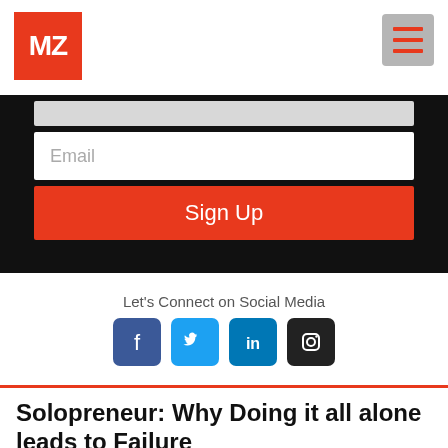MZ logo and hamburger menu navigation
[Figure (screenshot): Email sign-up form with Email input field and Sign Up button on black background]
Let's Connect on Social Media
[Figure (infographic): Social media icons: Facebook, Twitter, LinkedIn, Instagram]
Solopreneur: Why Doing it all alone leads to Failure